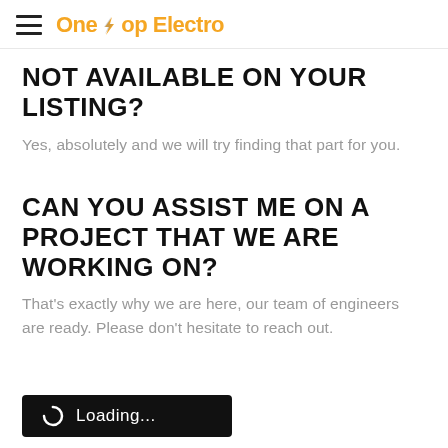OneStopElectro
NOT AVAILABLE ON YOUR LISTING?
Yes, absolutely and we will try finding that part for you.
CAN YOU ASSIST ME ON A PROJECT THAT WE ARE WORKING ON?
That's exactly why we are here, our team of engineers are ready. Please don't hesitate to reach out.
[Figure (screenshot): Black loading button with spinning circle icon and text 'Loading...']
CK THE PRODUCTS LOCALLY?